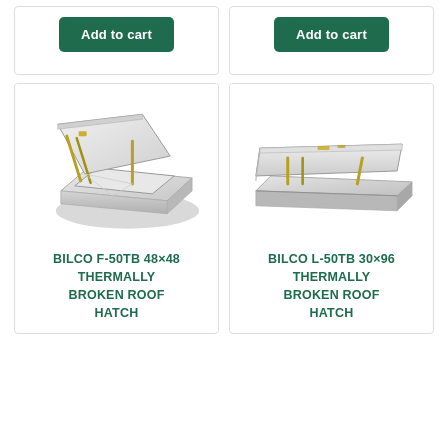[Figure (other): Add to cart button (top left card)]
[Figure (other): Add to cart button (top right card)]
[Figure (photo): BILCO F-50TB 48x48 thermally broken roof hatch, open view from above showing square aluminum frame with lid raised and gold/brass struts]
BILCO F-50TB 48×48 THERMALLY BROKEN ROOF HATCH
[Figure (photo): BILCO L-50TB 30x96 thermally broken roof hatch, open view showing rectangular aluminum frame with lid raised horizontally and gold/brass struts]
BILCO L-50TB 30×96 THERMALLY BROKEN ROOF HATCH